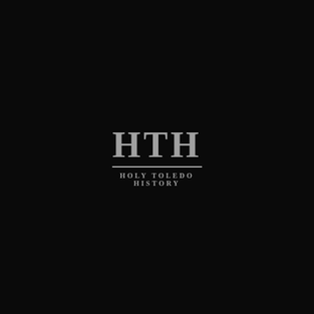[Figure (logo): HTH Holy Toledo History logo: large serif bold letters 'HTH' in gray with a horizontal rule beneath, and the text 'HOLY TOLEDO HISTORY' in small spaced capitals below, all centered on a black background.]